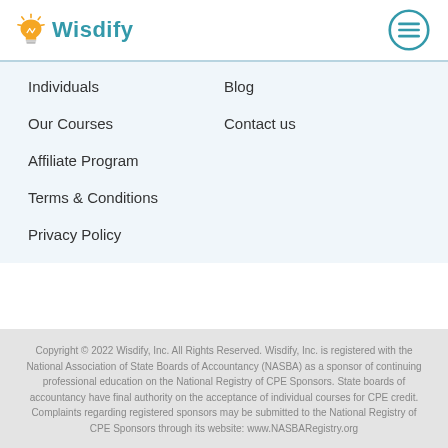Wisdify
Individuals
Blog
Our Courses
Contact us
Affiliate Program
Terms & Conditions
Privacy Policy
Copyright © 2022 Wisdify, Inc. All Rights Reserved. Wisdify, Inc. is registered with the National Association of State Boards of Accountancy (NASBA) as a sponsor of continuing professional education on the National Registry of CPE Sponsors. State boards of accountancy have final authority on the acceptance of individual courses for CPE credit. Complaints regarding registered sponsors may be submitted to the National Registry of CPE Sponsors through its website: www.NASBARegistry.org